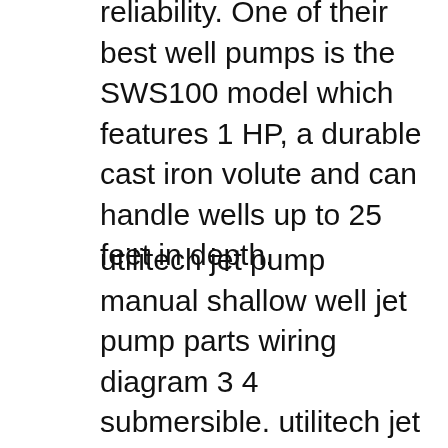reliability. One of their best well pumps is the SWS100 model which features 1 HP, a durable cast iron volute and can handle wells up to 25 feet in depth.
utilitech jet pump manual shallow well jet pump parts wiring diagram 3 4 submersible. utilitech jet pump manual jet pump parts repair for rite series well pumps 3 4 hp shallow. utilitech jet pump manual 1 hp cast iron convertible jet well pump. utilitech jet pump manual 1 hp cast iron convertible jet pump l well 2. utilitech jet pump manual 1-HP Cast Iron Shallow Well Jet Pump PPSWJ100 Manual. Utilitech 1-HP Cast Iron Shallow... Uploaded on Feb 20, 2017. 0 Answers I have a utilitech 1 1/2